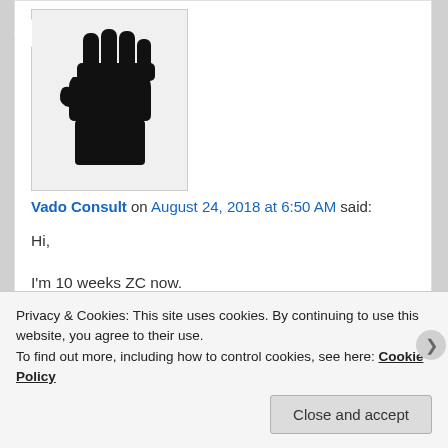[Figure (illustration): Black raised fist icon/logo, avatar image in a light gray bordered box]
Vado Consult on August 24, 2018 at 6:50 AM said:
Hi,

I'm 10 weeks ZC now.
First 2 months I didn't experience any problems nor any serious adaption symptoms.

Previous week I started getting some diarreah and turned out to be sick.
Heavy diarreah for 3 days , really tired, headaches
Privacy & Cookies: This site uses cookies. By continuing to use this website, you agree to their use.
To find out more, including how to control cookies, see here: Cookie Policy
Close and accept